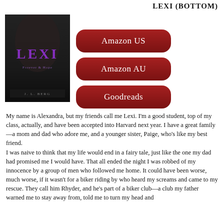LEXI (BOTTOM)
[Figure (photo): Book cover for 'LEXI' with dark background and purple title text, author name at bottom]
[Figure (infographic): Three dark red rounded rectangle buttons: Amazon US, Amazon AU, Goodreads]
My name is Alexandra, but my friends call me Lexi. I'm a good student, top of my class, actually, and have been accepted into Harvard next year. I have a great family—a mom and dad who adore me, and a younger sister, Paige, who's like my best friend. I was naive to think that my life would end in a fairy tale, just like the one my dad had promised me I would have. That all ended the night I was robbed of my innocence by a group of men who followed me home. It could have been worse, much worse, if it wasn't for a biker riding by who heard my screams and came to my rescue. They call him Rhyder, and he's part of a biker club—a club my father warned me to stay away from, told me to turn my head and